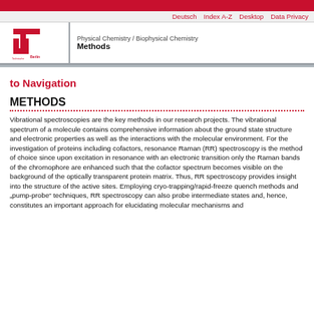Physical Chemistry / Biophysical Chemistry — Methods
Deutsch  Index A-Z  Desktop  Data Privacy
to Navigation
METHODS
Vibrational spectroscopies are the key methods in our research projects. The vibrational spectrum of a molecule contains comprehensive information about the ground state structure and electronic properties as well as the interactions with the molecular environment. For the investigation of proteins including cofactors, resonance Raman (RR) spectroscopy is the method of choice since upon excitation in resonance with an electronic transition only the Raman bands of the chromophore are enhanced such that the cofactor spectrum becomes visible on the background of the optically transparent protein matrix. Thus, RR spectroscopy provides insight into the structure of the active sites. Employing cryo-trapping/rapid-freeze quench methods and „pump-probe“ techniques, RR spectroscopy can also probe intermediate states and, hence, constitutes an important approach for elucidating molecular mechanisms and